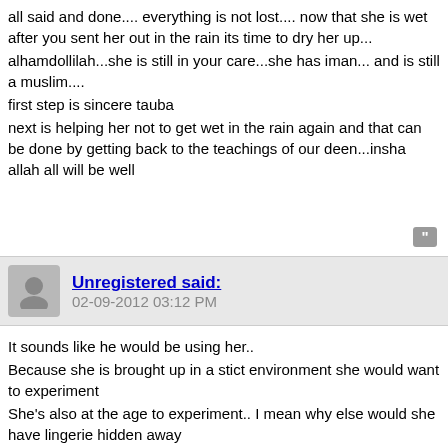all said and done.... everything is not lost.... now that she is wet after you sent her out in the rain its time to dry her up...
alhamdollilah...she is still in your care...she has iman... and is still a muslim....
first step is sincere tauba
next is helping her not to get wet in the rain again and that can be done by getting back to the teachings of our deen...insha allah all will be well
Unregistered said:
02-09-2012 03:12 PM
It sounds like he would be using her..
Because she is brought up in a stict environment she would want to experiment
She's also at the age to experiment.. I mean why else would she have lingerie hidden away

Just speak to her, like everyon else said